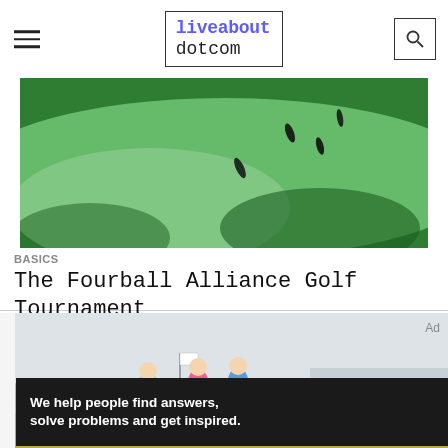liveabout dotcom
[Figure (photo): Aerial view of a golf course showing green fairways with several golfers visible as small figures on the undulating green landscape]
BASICS
The Fourball Alliance Golf Tournament
[Figure (photo): Three women golfers walking on a golf course near a flag, with a calm overcast sky and water in the background]
Ad
We help people find answers, solve problems and get inspired.  Dotdash meredith